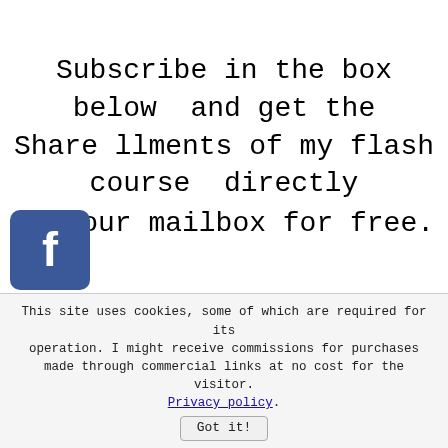Subscribe in the box below and get the Share llments of my flash course directly in your mailbox for free.
[Figure (other): Social media share buttons: Facebook (blue), Twitter (light blue), Pinterest (red), Tumblr (dark blue), Reddit (orange), WhatsApp (green)]
is invaluable course is concise but rs all the basics of getting ready for opy. It's divided in 3 short chapters t cover: finding a puppy, shopping choosing a puppy and first days at home.
This site uses cookies, some of which are required for its operation. I might receive commissions for purchases made through commercial links at no cost for the visitor. Privacy policy. Got it!